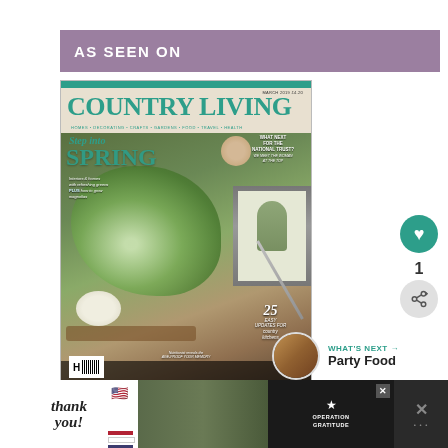AS SEEN ON
[Figure (photo): Country Living magazine cover for March 2019, featuring white wild garlic flowers on a wooden board, headline 'Step into SPRING', subheads including 'What Next for the National Trust?', '25 Easy Updates for Country Kitchens', 'Age-Proof Your Memory'. Price shown. Special-price tickets for CL Fair with BOOK NOW call to action.]
[Figure (other): Heart/like button (teal circle with heart icon) showing count of 1]
[Figure (other): Share button (light grey circle with share icon)]
WHAT'S NEXT → Party Food
[Figure (photo): Advertisement banner: 'Thank you!' with US flag graphic, soldier photo, Operation Gratitude logo]